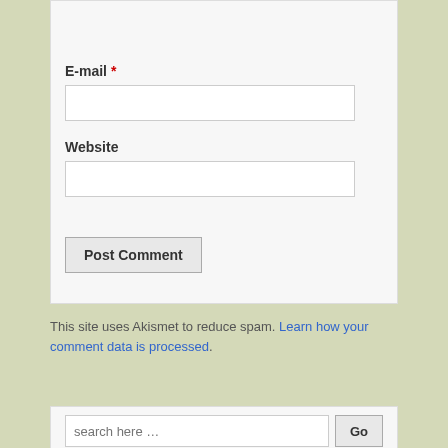E-mail *
Website
Post Comment
This site uses Akismet to reduce spam. Learn how your comment data is processed.
search here …